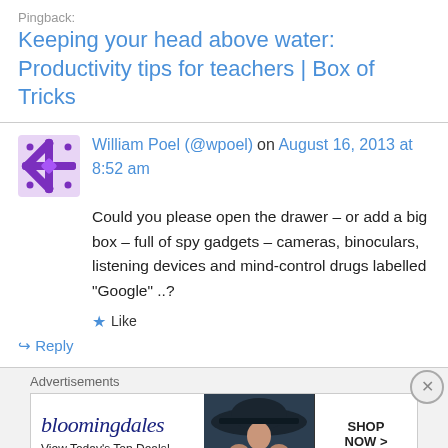Pingback: Keeping your head above water: Productivity tips for teachers | Box of Tricks
William Poel (@wpoel) on August 16, 2013 at 8:52 am
Could you please open the drawer – or add a big box – full of spy gadgets – cameras, binoculars, listening devices and mind-control drugs labelled “Google” ..?
Like
Reply
Advertisements
[Figure (screenshot): Bloomingdale's advertisement banner showing logo, 'View Today's Top Deals!' tagline, a woman with a wide-brimmed hat, and a 'SHOP NOW >' button]